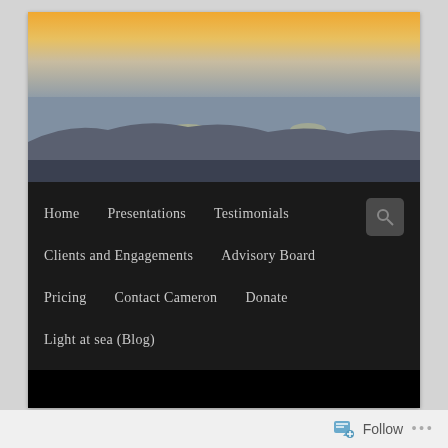[Figure (photo): Coastal sunset or sunrise landscape photo — warm orange sky at top, misty blue-grey water and headlands in the middle ground]
Home
Presentations
Testimonials
Clients and Engagements
Advisory Board
Pricing
Contact Cameron
Donate
Light at sea (Blog)
Next →
Follow
•••